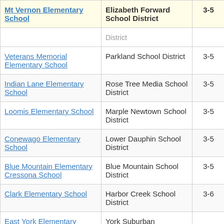| School | District | Grades | Value |
| --- | --- | --- | --- |
| Mt Vernon Elementary School | Elizabeth Forward School District | 3-5 | -0. |
| (District) | District |  |  |
| Veterans Memorial Elementary School | Parkland School District | 3-5 | -4. |
| Indian Lane Elementary School | Rose Tree Media School District | 3-5 | -1. |
| Loomis Elementary School | Marple Newtown School District | 3-5 | -6. |
| Conewago Elementary School | Lower Dauphin School District | 3-5 | 7. |
| Blue Mountain Elementary Cressona School | Blue Mountain School District | 3-5 | 1. |
| Clark Elementary School | Harbor Creek School District | 3-6 | 1. |
| East York Elementary | York Suburban |  |  |